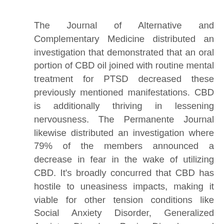The Journal of Alternative and Complementary Medicine distributed an investigation that demonstrated that an oral portion of CBD oil joined with routine mental treatment for PTSD decreased these previously mentioned manifestations. CBD is additionally thriving in lessening nervousness. The Permanente Journal likewise distributed an investigation where 79% of the members announced a decrease in fear in the wake of utilizing CBD. It's broadly concurred that CBD has hostile to uneasiness impacts, making it viable for other tension conditions like Social Anxiety Disorder, Generalized Anxiety Disorder, Panic Disorder, and Obsessive-Compulsive Disorder.

How CBD attempts to diminish nervousness is not satisfactory, yet many are going to CBD oil with